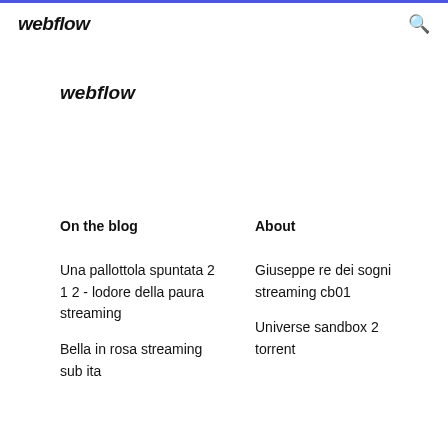webflow
webflow
On the blog
About
Una pallottola spuntata 2
1 2 - lodore della paura
streaming
Bella in rosa streaming sub ita
Giuseppe re dei sogni streaming cb01
Universe sandbox 2 torrent